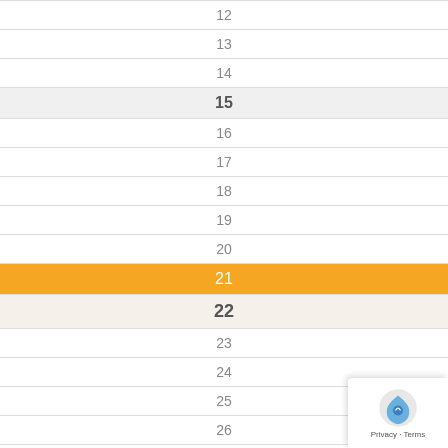| 12 |
| 13 |
| 14 |
| 15 |
| 16 |
| 17 |
| 18 |
| 19 |
| 20 |
| 21 |
| 22 |
| 23 |
| 24 |
| 25 |
| 26 |